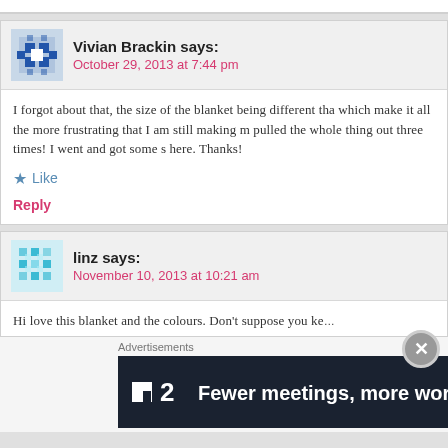Vivian Brackin says:
October 29, 2013 at 7:44 pm
I forgot about that, the size of the blanket being different tha... which make it all the more frustrating that I am still making m... pulled the whole thing out three times! I went and got some s... here. Thanks!
Like
Reply
linz says:
November 10, 2013 at 10:21 am
Hi love this blanket and the colours. Don’t suppose you ke…
Advertisements
[Figure (other): Dark advertisement banner with logo showing a square icon with '2' and text 'Fewer meetings, more work.']